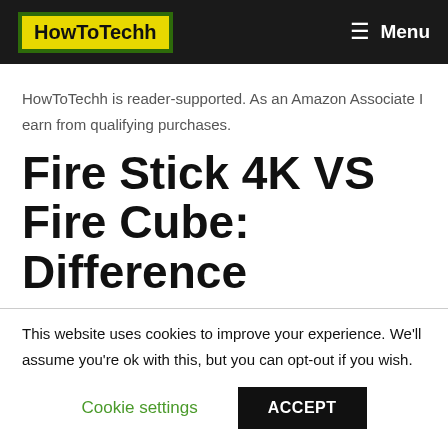HowToTechh  Menu
HowToTechh is reader-supported. As an Amazon Associate I earn from qualifying purchases.
Fire Stick 4K VS Fire Cube: Difference
This website uses cookies to improve your experience. We'll assume you're ok with this, but you can opt-out if you wish.
Cookie settings   ACCEPT